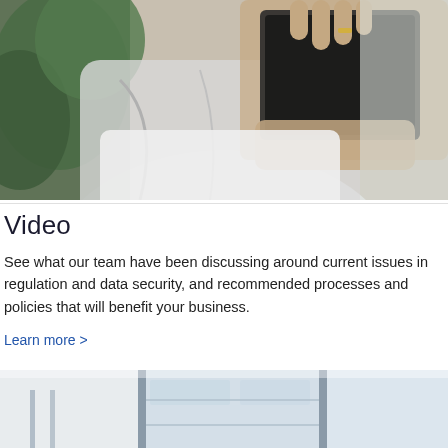[Figure (photo): Close-up photo of a person in a white shirt holding a dark tablet/book, with green plant leaves visible in the background]
Video
See what our team have been discussing around current issues in regulation and data security, and recommended processes and policies that will benefit your business.
Learn more >
[Figure (photo): Partial photo showing a modern office building interior with glass panels and columns, light blue tones]